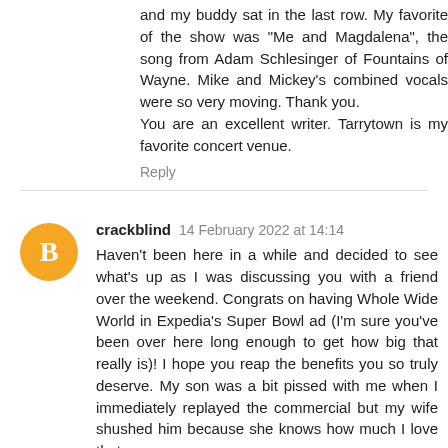and my buddy sat in the last row. My favorite of the show was "Me and Magdalena", the song from Adam Schlesinger of Fountains of Wayne. Mike and Mickey's combined vocals were so very moving. Thank you.
You are an excellent writer. Tarrytown is my favorite concert venue.
Reply
crackblind 14 February 2022 at 14:14
Haven't been here in a while and decided to see what's up as I was discussing you with a friend over the weekend. Congrats on having Whole Wide World in Expedia's Super Bowl ad (I'm sure you've been over here long enough to get how big that really is)! I hope you reap the benefits you so truly deserve. My son was a bit pissed with me when I immediately replayed the commercial but my wife shushed him because she knows how much I love that song.
Reply